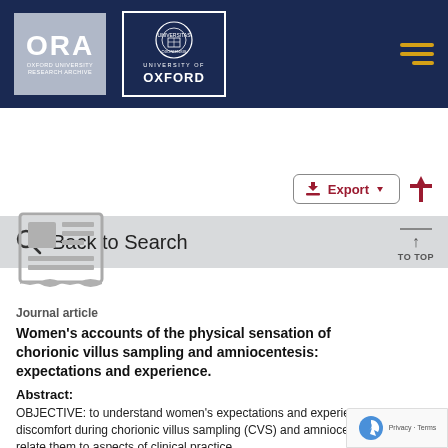[Figure (logo): ORA Oxford University Research Archive logo and University of Oxford crest logo on dark navy header with hamburger menu icon]
Back to Search
[Figure (illustration): Journal article document icon - grey newspaper/article thumbnail]
Journal article
Women's accounts of the physical sensation of chorionic villus sampling and amniocentesis: expectations and experience.
Abstract:
OBJECTIVE: to understand women's expectations and experience of discomfort during chorionic villus sampling (CVS) and amniocentesis, and relate them to aspects of clinical practice.